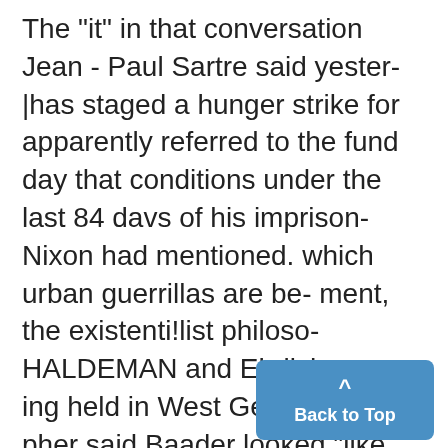The "it" in that conversation Jean - Paul Sartre said yester-|has staged a hunger strike for apparently referred to the fund day that conditions under the last 84 davs of his imprison- Nixon had mentioned. which urban guerrillas are be- ment, the existenti!list philoso- HALDEMAN and Ehrlichman, ing held in West German pri- pher said Baader looked "like both defendants in the Water- intended to make the a torture